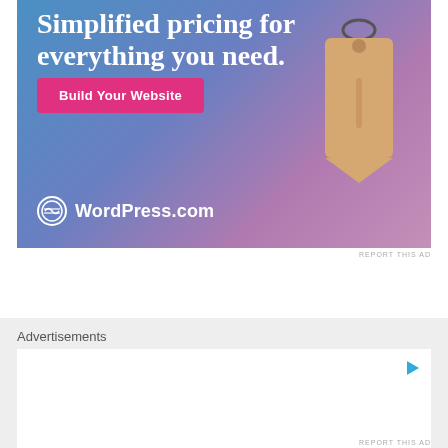[Figure (illustration): WordPress.com advertisement banner with gradient blue-purple background, large white text 'Simplified pricing for everything you need.', a pink 'Build Your Website' button, a 3D price tag illustration, and WordPress.com logo at the bottom.]
REPORT THIS AD
Advertisements
[Figure (other): Empty white advertisement box with a blue play/arrow icon in the top right corner.]
REPORT THIS AD